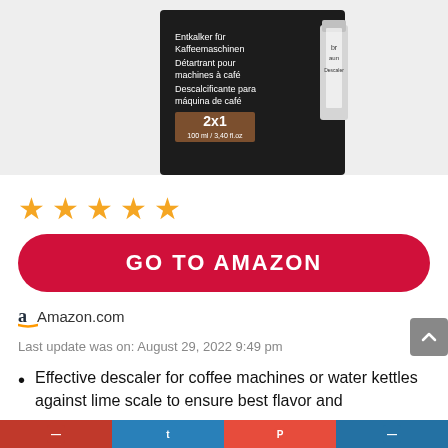[Figure (photo): Product image of a Braun descaler for coffee machines in black box packaging with a bottle, showing multilingual text: Entkalker für Kaffeemaschinen, Détartrant pour machines à café, Descalcificante para máquina de café, 2x1 100ml/3.40 fl.oz]
[Figure (other): Five gold/orange star rating icons]
GO TO AMAZON
Amazon.com
Last update was on: August 29, 2022 9:49 pm
Effective descaler for coffee machines or water kettles against lime scale to ensure best flavor and longevity...